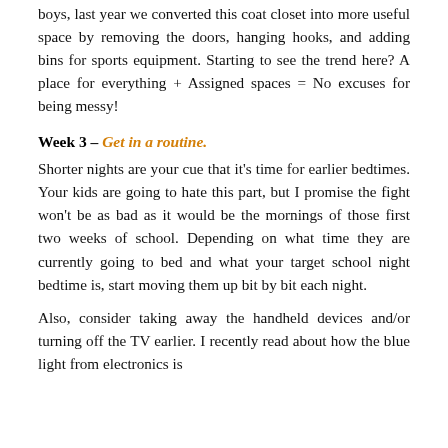boys, last year we converted this coat closet into more useful space by removing the doors, hanging hooks, and adding bins for sports equipment. Starting to see the trend here? A place for everything + Assigned spaces = No excuses for being messy!
Week 3 – Get in a routine.
Shorter nights are your cue that it's time for earlier bedtimes. Your kids are going to hate this part, but I promise the fight won't be as bad as it would be the mornings of those first two weeks of school. Depending on what time they are currently going to bed and what your target school night bedtime is, start moving them up bit by bit each night.
Also, consider taking away the handheld devices and/or turning off the TV earlier. I recently read about how the blue light from electronics is